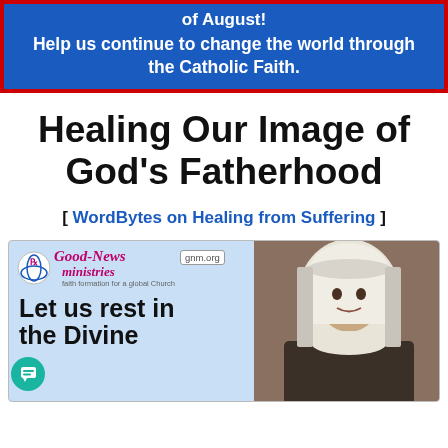of August! Help us continue to change the world through the Catholic Faith.
Healing Our Image of God's Fatherhood
[ WordBytes on Healing from Suffering ]
[Figure (photo): Good-News Ministries (gnm.org) branded image showing a nun in white habit, with text 'Let us rest in the Divine' overlaid on a light blue background. A teal chat bubble icon is visible in the lower left.]